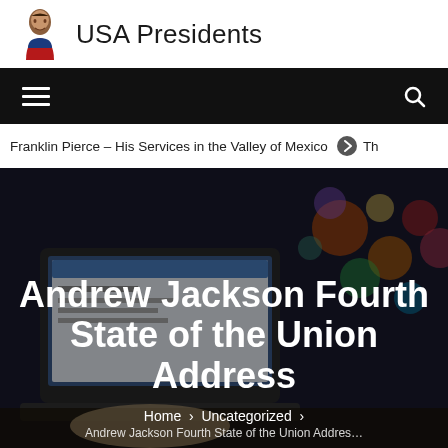USA Presidents
[Figure (screenshot): Website navigation bar with hamburger menu icon on left and search icon on right, black background]
Franklin Pierce – His Services in the Valley of Mexico
Andrew Jackson Fourth State of the Union Address
Home > Uncategorized >
Andrew Jackson Fourth State of the Union Address